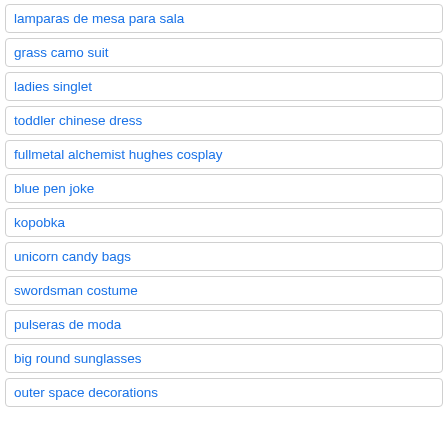lamparas de mesa para sala
grass camo suit
ladies singlet
toddler chinese dress
fullmetal alchemist hughes cosplay
blue pen joke
kopobka
unicorn candy bags
swordsman costume
pulseras de moda
big round sunglasses
outer space decorations